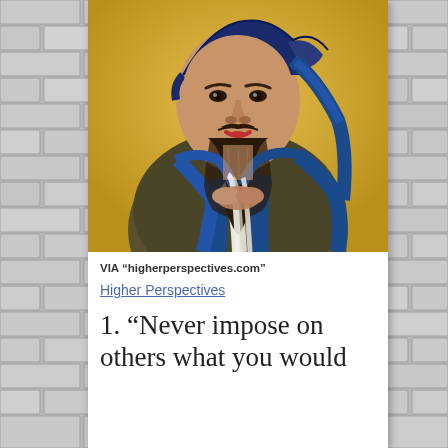[Figure (illustration): Traditional Chinese portrait painting of Confucius with dark beard, wearing blue and brown robes, against a golden/yellow background]
VIA “higherperspectives.com”
Higher Perspectives
1. “Never impose on others what you would